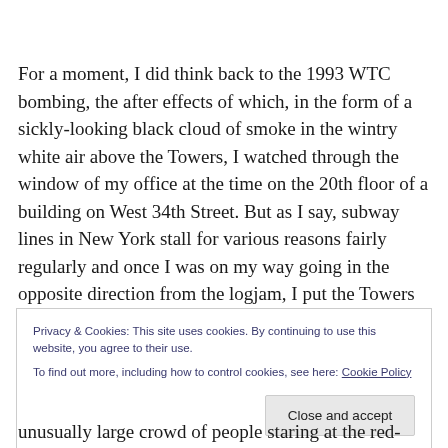For a moment, I did think back to the 1993 WTC bombing, the after effects of which, in the form of a sickly-looking black cloud of smoke in the wintry white air above the Towers, I watched through the window of my office at the time on the 20th floor of a building on West 34th Street. But as I say, subway lines in New York stall for various reasons fairly regularly and once I was on my way going in the opposite direction from the logjam, I put the Towers out
Privacy & Cookies: This site uses cookies. By continuing to use this website, you agree to their use.
To find out more, including how to control cookies, see here: Cookie Policy
Close and accept
unusually large crowd of people staring at the red-letter